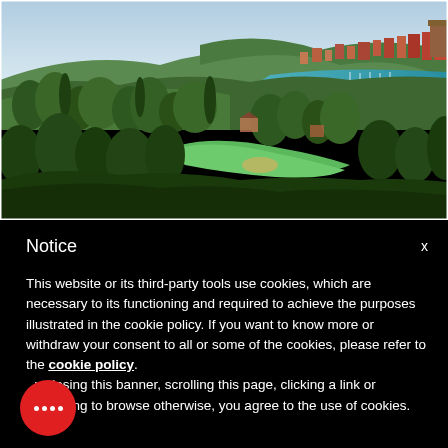[Figure (photo): Aerial landscape photo showing a golf course with green fairways surrounded by Mediterranean vegetation including olive and cypress trees, with a coastal town, harbor with boats, and blue sea visible in the background on a hillside.]
Notice
This website or its third-party tools use cookies, which are necessary to its functioning and required to achieve the purposes illustrated in the cookie policy. If you want to know more or withdraw your consent to all or some of the cookies, please refer to the cookie policy. By closing this banner, scrolling this page, clicking a link or continuing to browse otherwise, you agree to the use of cookies.